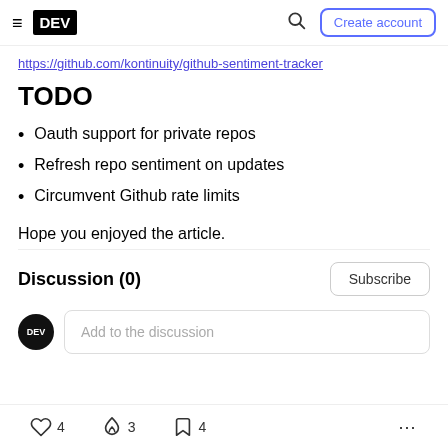≡ DEV | 🔍 Create account
https://github.com/kontinuity/github-sentiment-tracker
TODO
Oauth support for private repos
Refresh repo sentiment on updates
Circumvent Github rate limits
Hope you enjoyed the article.
Discussion (0)
Add to the discussion
♡ 4   🔥 3   🔖 4   ...